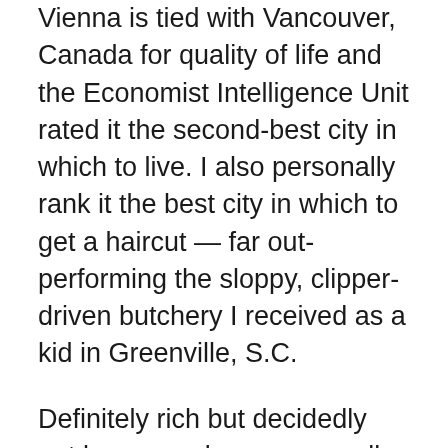Vienna is tied with Vancouver, Canada for quality of life and the Economist Intelligence Unit rated it the second-best city in which to live. I also personally rank it the best city in which to get a haircut — far out-performing the sloppy, clipper-driven butchery I received as a kid in Greenville, S.C.
Definitely rich but decidedly not beer goggly was our well-dressed and well-coiffed guide at the Vienna State Opera House. We seemed to inspire pity in her, sort of like she was volunteering at a hospice but with less hope: “These are the orchestra seats, which would sell for about 250 Euros each or the cost of one sleeve of my splendidly tailored shirt. Over there are the box seats, which I am sorry to say are far beyond what you could ever afford to pay given your own personal poverty, which, I am sorry to say, is considerable and bleak. We do offer the